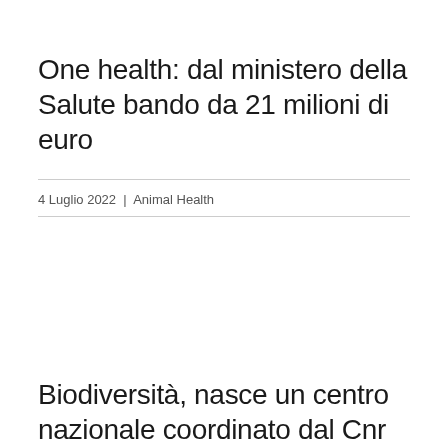One health: dal ministero della Salute bando da 21 milioni di euro
4 Luglio 2022 | Animal Health
Biodiversità, nasce un centro nazionale coordinato dal Cnr